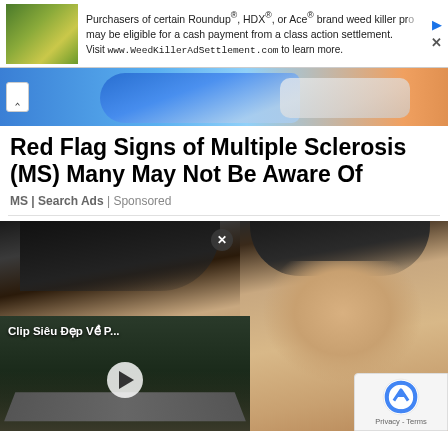[Figure (screenshot): Advertisement banner: image of flowers on left, text about Roundup/HDX/Ace brand weed killer class action settlement, with close and info buttons]
[Figure (illustration): Partial carousel image showing illustrated figures in blue clothing]
Red Flag Signs of Multiple Sclerosis (MS) Many May Not Be Aware Of
MS | Search Ads | Sponsored
[Figure (photo): Two photos side by side: left shows a person's face/hair from above, right shows a man's face. Below the left photo is a video player overlay showing 'Clip Siêu Đẹp Về P...' with a play button. A reCAPTCHA badge appears in the bottom right corner.]